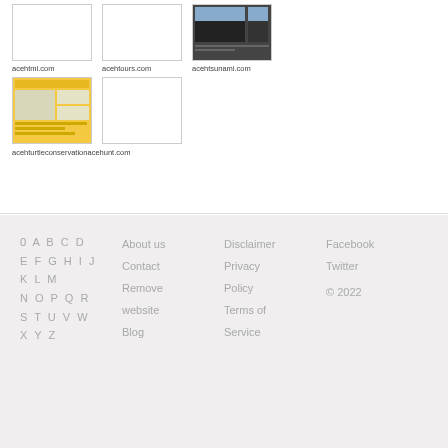[Figure (screenshot): Thumbnail image for acehtml.com - white/blank thumbnail]
acehtml.com
[Figure (screenshot): Thumbnail image for acehtours.com - white/blank thumbnail]
acehtours.com
[Figure (screenshot): Thumbnail image for acehtsunami.com - dark screenshot]
acehtsunami.com
[Figure (screenshot): Thumbnail image for acehturtleconservation - yellow background website screenshot]
[Figure (screenshot): Thumbnail image for acehunt.com - white/blank thumbnail]
acehturtleconservationacehunt.com
0 A B C D E F G H I J K L M N O P Q R S T U V W X Y Z  About us Contact Remove website Blog  Disclaimer Privacy Policy Terms of Service  Facebook Twitter © 2022